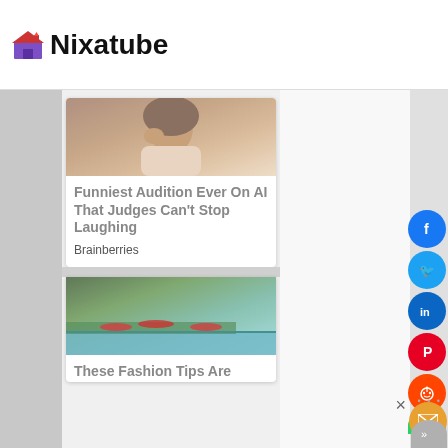Nixatube
[Figure (screenshot): Website screenshot of Nixatube page showing promotional content cards with social sharing buttons (Facebook, Twitter, LinkedIn, Pinterest, Reddit, Email) on the right side. Two content cards visible: first card shows a woman laughing with title 'Funniest Audition Ever On AI That Judges Can't Stop Laughing' by Brainberries, second card shows people at water with partial title 'These Fashion Tips Are']
Funniest Audition Ever On AI That Judges Can't Stop Laughing
Brainberries
These Fashion Tips Are